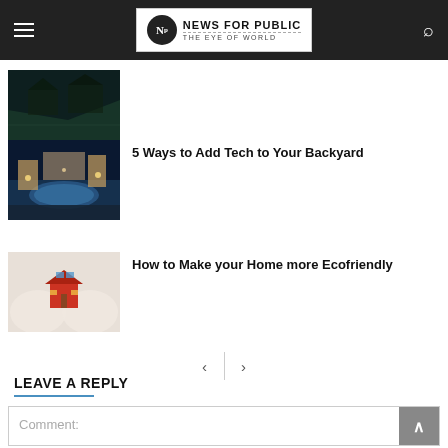NEWS FOR PUBLIC — THE EYE OF WORLD
[Figure (photo): Dark green/teal thumbnail image (partial, cropped at top)]
[Figure (photo): Night-time luxury pool and villa lit up thumbnail]
5 Ways to Add Tech to Your Backyard
[Figure (photo): Hands holding a small red house model with solar panels thumbnail]
How to Make your Home more Ecofriendly
< | >
LEAVE A REPLY
Comment: